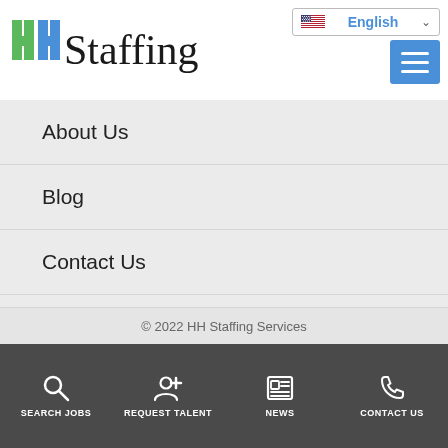[Figure (logo): HH Staffing logo with green and blue H letters and black handwritten-style 'Staffing' text]
[Figure (screenshot): Language selector showing US flag and 'English' with dropdown chevron]
[Figure (screenshot): Blue hamburger menu icon with three white horizontal lines]
About Us
Blog
Contact Us
Locations
¡Encuentra Tu Empleo Aquí!
© 2022 HH Staffing Services
SEARCH JOBS   REQUEST TALENT   NEWS   CONTACT US